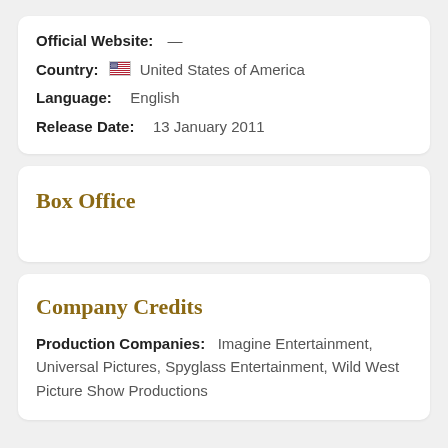Official Website: —
Country: 🇺🇸 United States of America
Language: English
Release Date: 13 January 2011
Box Office
Company Credits
Production Companies: Imagine Entertainment, Universal Pictures, Spyglass Entertainment, Wild West Picture Show Productions